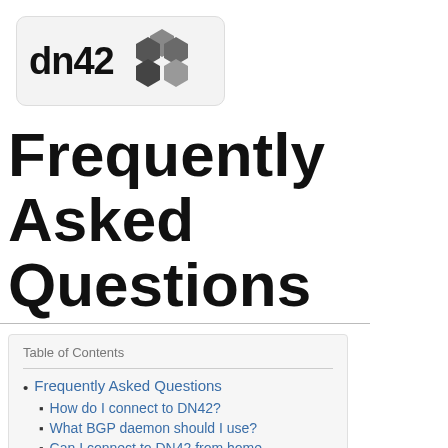[Figure (logo): dn42 logo with text 'dn42' and hexagonal honeycomb icon in dark grey tones on a light grey rounded rectangle background]
Frequently Asked Questions
Table of Contents
Frequently Asked Questions
How do I connect to DN42?
What BGP daemon should I use?
Can I connect to DN42 from home